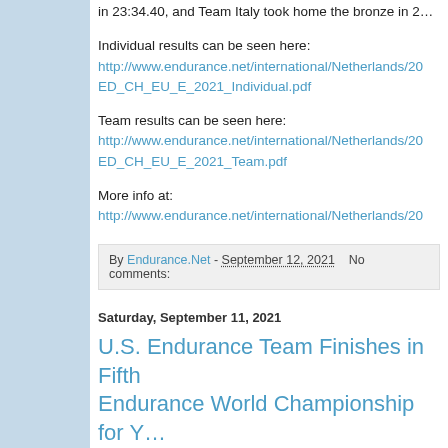in 23:34.40, and Team Italy took home the bronze in 2...
Individual results can be seen here:
http://www.endurance.net/international/Netherlands/20 ED_CH_EU_E_2021_Individual.pdf
Team results can be seen here:
http://www.endurance.net/international/Netherlands/20 ED_CH_EU_E_2021_Team.pdf
More info at:
http://www.endurance.net/international/Netherlands/20
By Endurance.Net - September 12, 2021   No comments:
Saturday, September 11, 2021
U.S. Endurance Team Finishes in Fifth Endurance World Championship for Y... Juniors